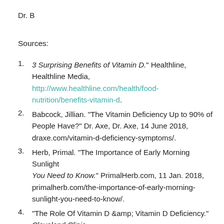Dr. B
Sources:
3 Surprising Benefits of Vitamin D." Healthline, Healthline Media, http://www.healthline.com/health/food-nutrition/benefits-vitamin-d.
Babcock, Jillian. "The Vitamin Deficiency Up to 90% of People Have?" Dr. Axe, Dr. Axe, 14 June 2018, draxe.com/vitamin-d-deficiency-symptoms/.
Herb, Primal. "The Importance of Early Morning Sunlight You Need to Know." PrimalHerb.com, 11 Jan. 2018, primalherb.com/the-importance-of-early-morning-sunlight-you-need-to-know/.
"The Role Of Vitamin D &amp; Vitamin D Deficiency." Cleveland Clinic,